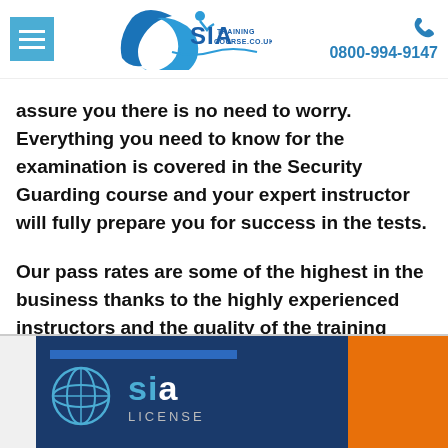SIA Training Course .co.uk | 0800-994-9147
assure you there is no need to worry. Everything you need to know for the examination is covered in the Security Guarding course and your expert instructor will fully prepare you for success in the tests.
Our pass rates are some of the highest in the business thanks to the highly experienced instructors and the quality of the training providers.
[Figure (photo): SIA license card image showing globe icon, SIA logo, and LICENSE text on dark navy blue background with orange strip on right side]